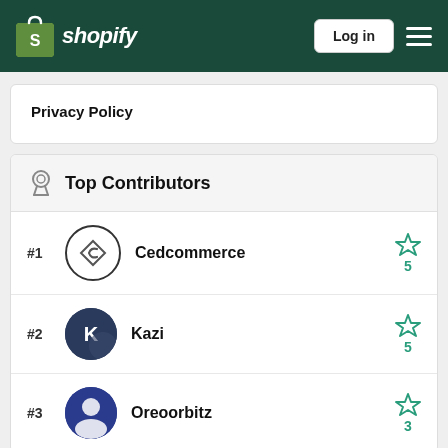Shopify — Log in
Privacy Policy
Top Contributors
#1 Cedcommerce — 5 stars
#2 Kazi — 5 stars
#3 Oreoorbitz — 3 stars